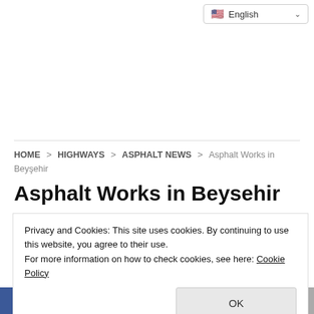English (language selector)
HOME > HIGHWAYS > ASPHALT NEWS > Asphalt Works in Beyşehir
Asphalt Works in Beysehir
Privacy and Cookies: This site uses cookies. By continuing to use this website, you agree to their use.
For more information on how to check cookies, see here: Cookie Policy
OK